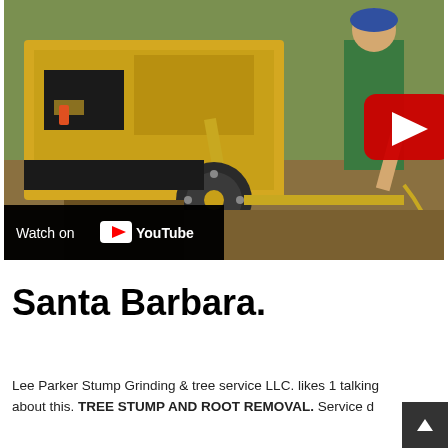[Figure (screenshot): YouTube video thumbnail showing a yellow stump grinder machine with a person in green shirt operating it. A large red YouTube play button is overlaid in the center-right area. At the bottom-left is a 'Watch on YouTube' overlay bar.]
Santa Barbara.
Lee Parker Stump Grinding & tree service LLC. likes 1 talking about this. TREE STUMP AND ROOT REMOVAL. Service d...